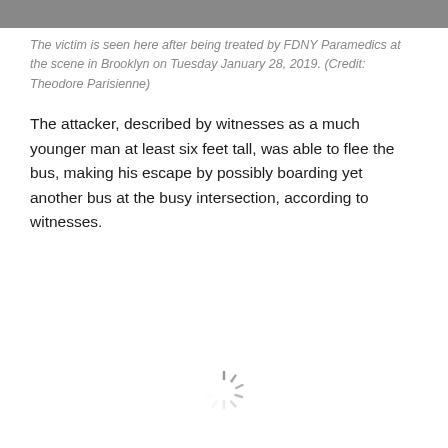[Figure (photo): A grayscale image strip at the top of the page, cropped, showing a partial scene.]
The victim is seen here after being treated by FDNY Paramedics at the scene in Brooklyn on Tuesday January 28, 2019. (Credit: Theodore Parisienne)
The attacker, described by witnesses as a much younger man at least six feet tall, was able to flee the bus, making his escape by possibly boarding yet another bus at the busy intersection, according to witnesses.
[Figure (other): A loading spinner icon centered near the bottom of the page.]